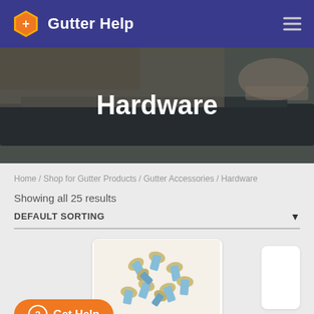Gutter Help
Hardware
Home / Shop for Gutter Products / Gutter Accessories / Hardware
Showing all 25 results
DEFAULT SORTING
[Figure (photo): Hardware screws and fasteners for gutters on white background]
[Figure (other): Get Help button with orange background and question mark icon]